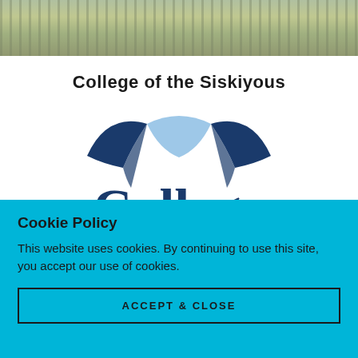[Figure (photo): Landscape photo of dry grassland/prairie vegetation, cropped to a horizontal strip at the top of the page]
College of the Siskiyous
[Figure (logo): College of the Siskiyous logo showing the word 'College' in large dark navy serif type with a circular emblem above containing navy and light blue curved shapes]
Cookie Policy
This website uses cookies. By continuing to use this site, you accept our use of cookies.
ACCEPT & CLOSE